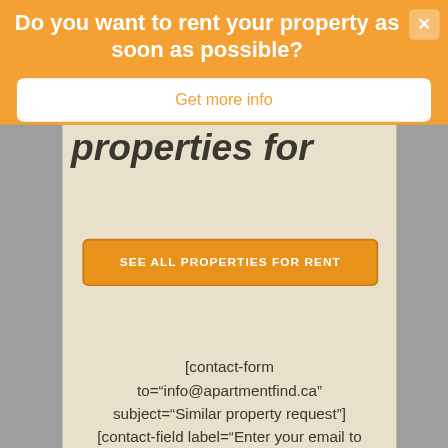Do you want to rent your property as soon as possible?
Get more info
properties for rent.
SEE ALL PROPERTIES FOR RENT
[contact-form to="info@apartmentfind.ca" subject="Similar property request"] [contact-field label="Enter your email to